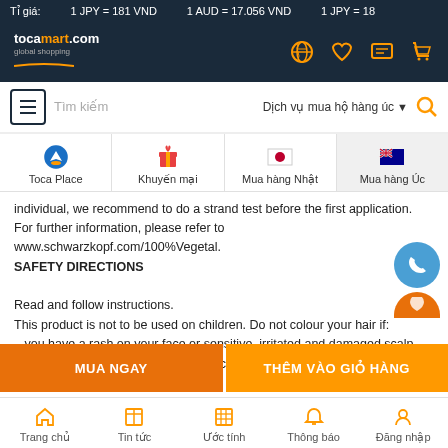Tỉ giá: 1 JPY = 181 VND  1 AUD = 17.056 VND  1 JPY = 18
[Figure (logo): tocamart.com logo with navigation icons]
[Figure (screenshot): Search bar with hamburger menu, search input 'Tìm kiếm', service dropdown 'Dịch vụ mua hộ hàng úc', and search icon]
[Figure (infographic): Category navigation bar: Toca Place, Khuyến mại, Mua hàng Nhật, Mua hàng Úc]
individual, we recommend to do a strand test before the first application. For further information, please refer to www.schwarzkopf.com/100%Vegetal. SAFETY DIRECTIONS

Read and follow instructions.
This product is not to be used on children. Do not colour your hair if:
– you have a rash on your face or sensitive, irritated and damaged scalp,
– you have ever experienced any reaction after colouring your hair with
[Figure (other): Floating call and chat buttons on the right side]
MUA NGAY  |  THÊM VÀO GIỎ HÀNG
Trang chủ  Tin tức  Ước tính  Thông báo  Đăng nhập